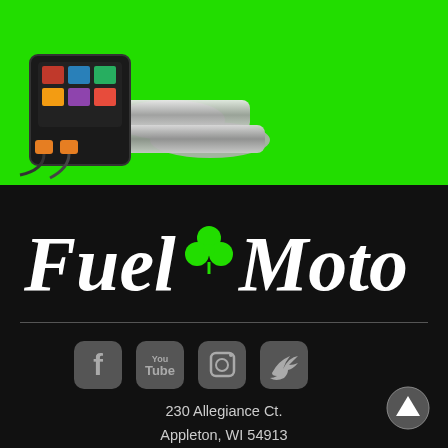[Figure (photo): Motorcycle performance tuning products (exhaust pipes, electronic tuner device) on green background banner]
[Figure (logo): Fuel Moto logo in white italic script font with green shamrock/clover between 'Fuel' and 'Moto']
[Figure (infographic): Social media icons: Facebook, YouTube, Instagram, Twitter in gray]
230 Allegiance Ct.
Appleton, WI 54913

Mon-Fri 9-5PM CST

Sales / Tech Support:
920-423-3309